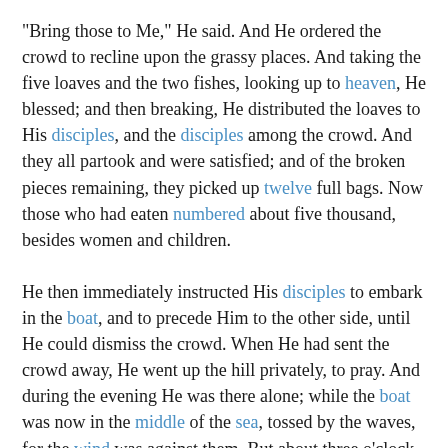"Bring those to Me," He said. And He ordered the crowd to recline upon the grassy places. And taking the five loaves and the two fishes, looking up to heaven, He blessed; and then breaking, He distributed the loaves to His disciples, and the disciples among the crowd. And they all partook and were satisfied; and of the broken pieces remaining, they picked up twelve full bags. Now those who had eaten numbered about five thousand, besides women and children.

He then immediately instructed His disciples to embark in the boat, and to precede Him to the other side, until He could dismiss the crowd. When He had sent the crowd away, He went up the hill privately, to pray. And during the evening He was there alone; while the boat was now in the middle of the sea, tossed by the waves, for the wind was against them. But about three o'clock in the morning He came towards them, walking upon the sea. And His disciples, seeing Him walking upon the water, were terrified, exclaiming, "It is a phantom!" and called out for fear. Jesus, however, at once spoke to them, saying, "Take courage! I live; be not afraid." Peter in reply to Him said